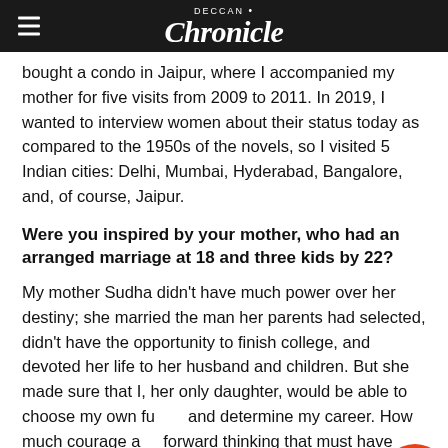Deccan Chronicle
bought a condo in Jaipur, where I accompanied my mother for five visits from 2009 to 2011. In 2019, I wanted to interview women about their status today as compared to the 1950s of the novels, so I visited 5 Indian cities: Delhi, Mumbai, Hyderabad, Bangalore, and, of course, Jaipur.
Were you inspired by your mother, who had an arranged marriage at 18 and three kids by 22?
My mother Sudha didn't have much power over her destiny; she married the man her parents had selected, didn't have the opportunity to finish college, and devoted her life to her husband and children. But she made sure that I, her only daughter, would be able to choose my own fu... and determine my career. How much courage a... forward thinking that must have taken! I was